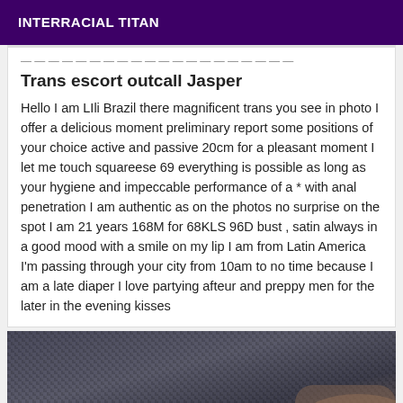INTERRACIAL TITAN
Trans escort outcall Jasper
Hello I am LIli Brazil there magnificent trans you see in photo I offer a delicious moment preliminary report some positions of your choice active and passive 20cm for a pleasant moment I let me touch squareese 69 everything is possible as long as your hygiene and impeccable performance of a * with anal penetration I am authentic as on the photos no surprise on the spot I am 21 years 168M for 68KLS 96D bust , satin always in a good mood with a smile on my lip I am from Latin America I'm passing through your city from 10am to no time because I am a late diaper I love partying afteur and preppy men for the later in the evening kisses
[Figure (photo): Partial photo showing dark textured fabric/clothing material with a glimpse of skin]